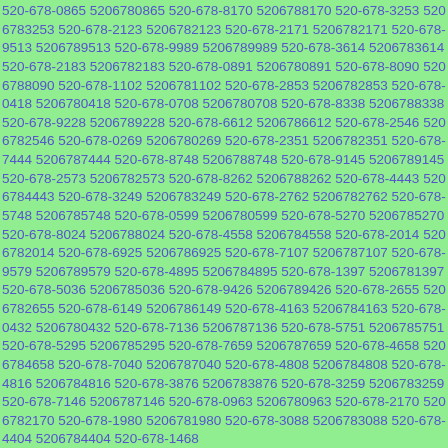520-678-0865 5206780865 520-678-8170 5206788170 520-678-3253 5206783253 520-678-2123 5206782123 520-678-2171 5206782171 520-678-9513 5206789513 520-678-9989 5206789989 520-678-3614 5206783614 520-678-2183 5206782183 520-678-0891 5206780891 520-678-8090 5206788090 520-678-1102 5206781102 520-678-2853 5206782853 520-678-0418 5206780418 520-678-0708 5206780708 520-678-8338 5206788338 520-678-9228 5206789228 520-678-6612 5206786612 520-678-2546 5206782546 520-678-0269 5206780269 520-678-2351 5206782351 520-678-7444 5206787444 520-678-8748 5206788748 520-678-9145 5206789145 520-678-2573 5206782573 520-678-8262 5206788262 520-678-4443 5206784443 520-678-3249 5206783249 520-678-2762 5206782762 520-678-5748 5206785748 520-678-0599 5206780599 520-678-5270 5206785270 520-678-8024 5206788024 520-678-4558 5206784558 520-678-2014 5206782014 520-678-6925 5206786925 520-678-7107 5206787107 520-678-9579 5206789579 520-678-4895 5206784895 520-678-1397 5206781397 520-678-5036 5206785036 520-678-9426 5206789426 520-678-2655 5206782655 520-678-6149 5206786149 520-678-4163 5206784163 520-678-0432 5206780432 520-678-7136 5206787136 520-678-5751 5206785751 520-678-5295 5206785295 520-678-7659 5206787659 520-678-4658 5206784658 520-678-7040 5206787040 520-678-4808 5206784808 520-678-4816 5206784816 520-678-3876 5206783876 520-678-3259 5206783259 520-678-7146 5206787146 520-678-0963 5206780963 520-678-2170 5206782170 520-678-1980 5206781980 520-678-3088 5206783088 520-678-4404 5206784404 520-678-1468